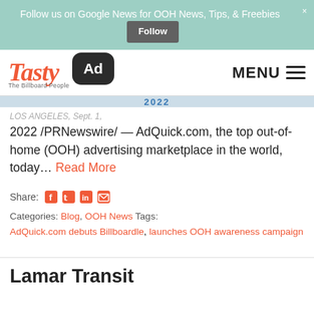Follow us on Google News for OOH News, Tips, & Freebies  [Follow button]  ×
[Figure (logo): Tasty Ad - The Billboard People logo with coral/red script 'Tasty' text and dark rounded 'Ad' badge. MENU hamburger button on right.]
LOS ANGELES, Sept. 1, 2022 /PRNewswire/ — AdQuick.com, the top out-of-home (OOH) advertising marketplace in the world, today… Read More
Share: [Facebook] [Twitter] [LinkedIn] [Email]
Categories: Blog, OOH News  Tags: AdQuick.com debuts Billboardle, launches OOH awareness campaign
Lamar Transit